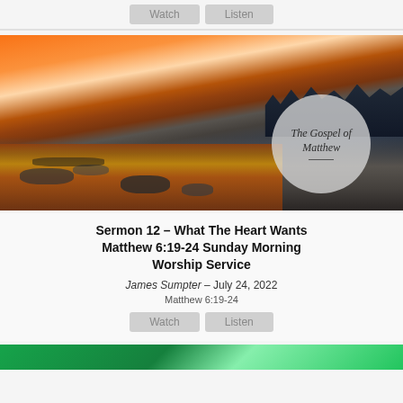Watch  Listen
[Figure (photo): Coastal sunset landscape with rocky shoreline, orange sky, and forest treeline. Overlaid circle with text 'The Gospel of Matthew']
Sermon 12 - What The Heart Wants Matthew 6:19-24 Sunday Morning Worship Service
James Sumpter – July 24, 2022
Matthew 6:19-24
Watch  Listen
[Figure (photo): Partial view of another card image with green background visible at bottom]